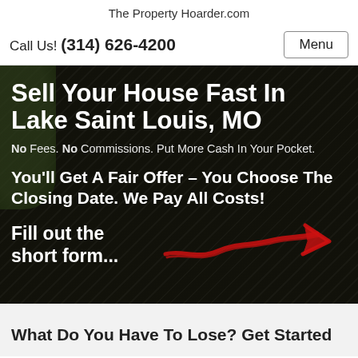The Property Hoarder.com
Call Us! (314) 626-4200
Sell Your House Fast In Lake Saint Louis, MO
No Fees. No Commissions. Put More Cash In Your Pocket.
You’ll Get A Fair Offer – You Choose The Closing Date. We Pay All Costs!
[Figure (illustration): Red hand-drawn arrow pointing right, indicating to fill out the short form]
Fill out the short form...
What Do You Have To Lose? Get Started